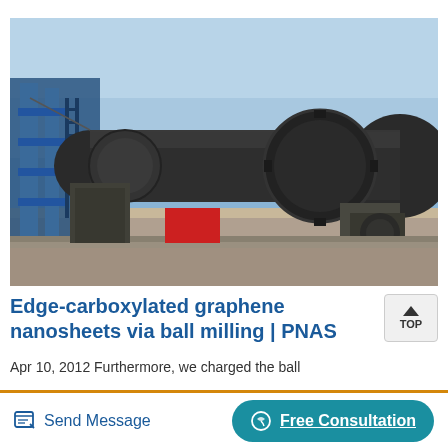[Figure (photo): Industrial ball mill equipment — a large horizontal rotating cylindrical drum (dark gray) mounted on support rollers with drive gears, photographed outdoors against a blue sky. A blue steel structure is visible on the left side.]
Edge-carboxylated graphene nanosheets via ball milling | PNAS
Apr 10, 2012 Furthermore, we charged the ball
Send Message
Free Consultation